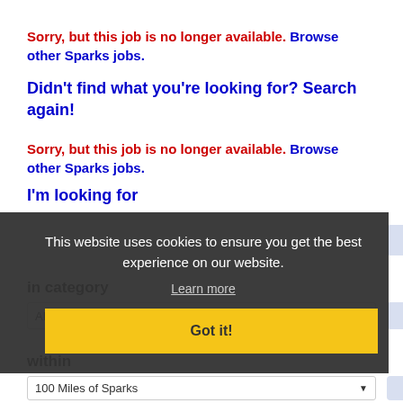Sorry, but this job is no longer available. Browse other Sparks jobs.
Didn't find what you're looking for? Search again!
Sorry, but this job is no longer available. Browse other Sparks jobs.
I'm looking for
This website uses cookies to ensure you get the best experience on our website.
Learn more
Got it!
in category
ALL
within
100 Miles of Sparks